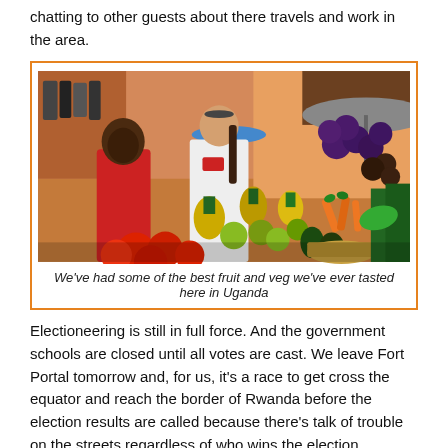chatting to other guests about there travels and work in the area.
[Figure (photo): A woman in a cycling jersey and a child in a red shirt stand at a colorful outdoor market stall in Uganda, surrounded by pineapples, tomatoes, limes, carrots, avocados, and other fresh produce. Orange building walls and market umbrellas are visible in the background.]
We've had some of the best fruit and veg we've ever tasted here in Uganda
Electioneering is still in full force. And the government schools are closed until all votes are cast. We leave Fort Portal tomorrow and, for us, it's a race to get cross the equator and reach the border of Rwanda before the election results are called because there's talk of trouble on the streets regardless of who wins the election.